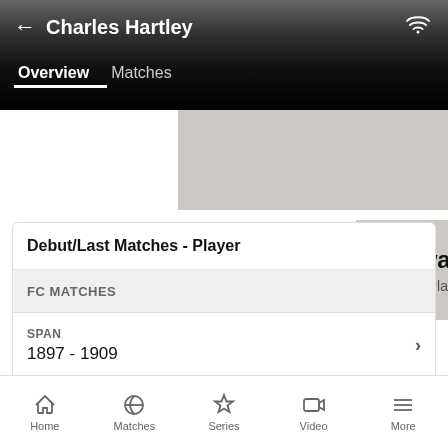Charles Hartley
Overview   Matches
Software
Webinar Platform
Debut/Last Matches - Player
FC MATCHES
SPAN
1897 - 1909
View more
Home   Matches   Series   Video   More